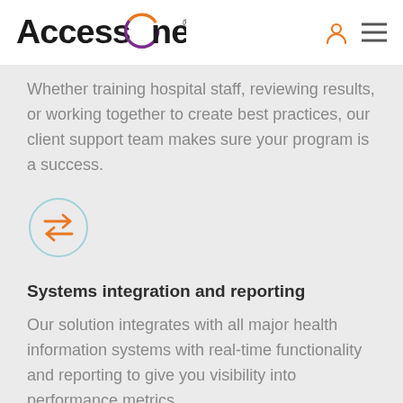AccessOne
Whether training hospital staff, reviewing results, or working together to create best practices, our client support team makes sure your program is a success.
[Figure (illustration): Two overlapping arrows in a circle icon (orange color), indicating exchange or transfer.]
Systems integration and reporting
Our solution integrates with all major health information systems with real-time functionality and reporting to give you visibility into performance metrics.